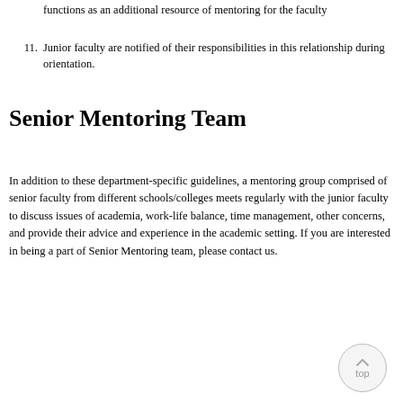functions as an additional resource of mentoring for the faculty
11. Junior faculty are notified of their responsibilities in this relationship during orientation.
Senior Mentoring Team
In addition to these department-specific guidelines, a mentoring group comprised of senior faculty from different schools/colleges meets regularly with the junior faculty to discuss issues of academia, work-life balance, time management, other concerns, and provide their advice and experience in the academic setting. If you are interested in being a part of Senior Mentoring team, please contact us.